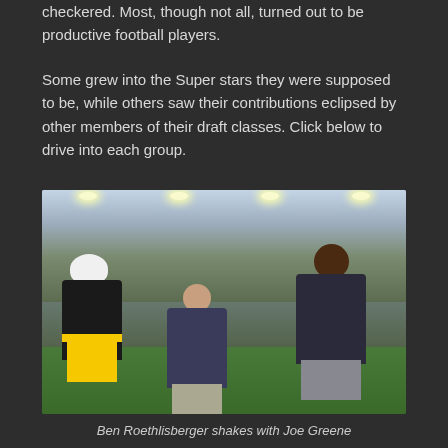checkered. Most, though not all, turned out to be productive football players.
Some grew into the Super stars they were supposed to be, while others saw their contributions eclipsed by other members of their draft classes. Click below to drive into each group.
[Figure (photo): Ben Roethlisberger in Pittsburgh Steelers uniform shaking hands with Joe Greene, with a third man in a suit standing between them on a football field with a packed stadium in the background.]
Ben Roethlisberger shakes with Joe Greene